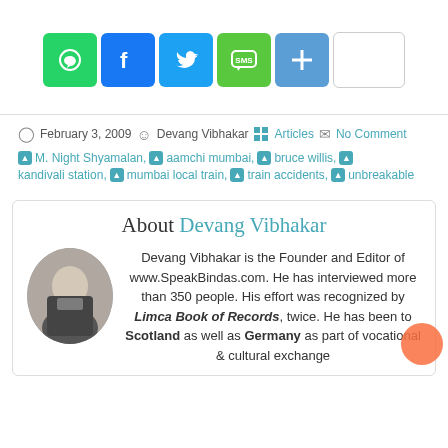[Figure (other): Social share buttons: WhatsApp (green), Facebook (blue), Twitter (blue), SMS (green), More/Plus (blue), blank white button]
February 3, 2009   Devang Vibhakar   Articles   No Comment
M. Night Shyamalan, aamchi mumbai, bruce willis, kandivali station, mumbai local train, train accidents, unbreakable
About Devang Vibhakar
Devang Vibhakar is the Founder and Editor of www.SpeakBindas.com. He has interviewed more than 350 people. His effort was recognized by Limca Book of Records, twice. He has been to Scotland as well as Germany as part of vocational & cultural exchange